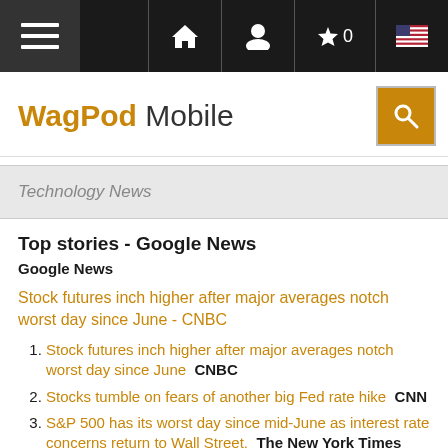WagPod Mobile — navigation bar with hamburger menu, home, user, star 0, flag icons
WagPod Mobile
Technology News
Top stories - Google News
Google News
Stock futures inch higher after major averages notch worst day since June - CNBC
1. Stock futures inch higher after major averages notch worst day since June  CNBC
2. Stocks tumble on fears of another big Fed rate hike  CNN
3. S&P 500 has its worst day since mid-June as interest rate concerns return to Wall Street.  The New York Times
4. Stocks end sharply lower on fears of aggressive Fed  Reuters